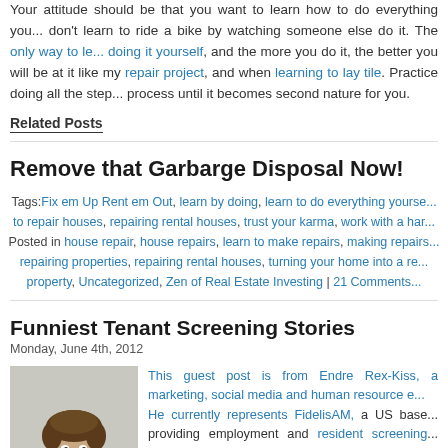Your attitude should be that you want to learn how to do everything you... don't learn to ride a bike by watching someone else do it. The only way to le... doing it yourself, and the more you do it, the better you will be at it like my repair project, and when learning to lay tile. Practice doing all the step... process until it becomes second nature for you.
Related Posts
Remove that Garbarge Disposal Now!
Tags: Fix em Up Rent em Out, learn by doing, learn to do everything yourse... to repair houses, repairing rental houses, trust your karma, work with a har... Posted in house repair, house repairs, learn to make repairs, making repairs repairing properties, repairing rental houses, turning your home into a re... property, Uncategorized, Zen of Real Estate Investing | 21 Comments
Funniest Tenant Screening Stories
Monday, June 4th, 2012
[Figure (photo): Headshot photo of a man with curly hair wearing a light blue shirt]
This guest post is from Endre Rex-Kiss, a marketing, social media and human resource e... He currently represents FidelisAM, a US base... providing employment and resident screening... Follow his occasional guest blogging activities on...
Tenant screenings is the way to go if you war... tenants and most landlords come across potentia...